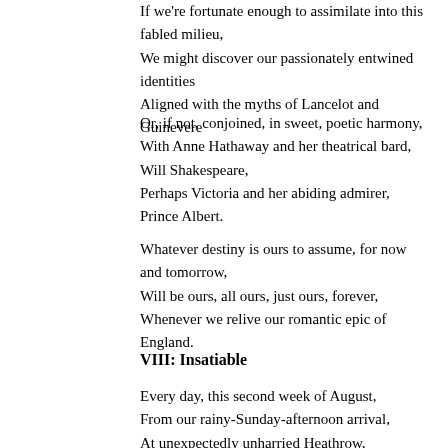If we're fortunate enough to assimilate into this fabled milieu,
We might discover our passionately entwined identities
Aligned with the myths of Lancelot and Guinevere
Or, if not, conjoined, in sweet, poetic harmony,
With Anne Hathaway and her theatrical bard, Will Shakespeare,
Perhaps Victoria and her abiding admirer, Prince Albert.
Whatever destiny is ours to assume, for now and tomorrow,
Will be ours, all ours, just ours, forever,
Whenever we relive our romantic epic of England.
VIII: Insatiable
Every day, this second week of August,
From our rainy-Sunday-afternoon arrival,
At unexpectedly unharried Heathrow,
To our sunny-Saturday departure, by Eurostar,
From crowded St. Pancras Station
(The two of us now bound for Paris,
Speeding, smoothly, beneath the English Channel),
We've walked, in hand-held wonder-step,
Over London's Victorian-faceted streets,